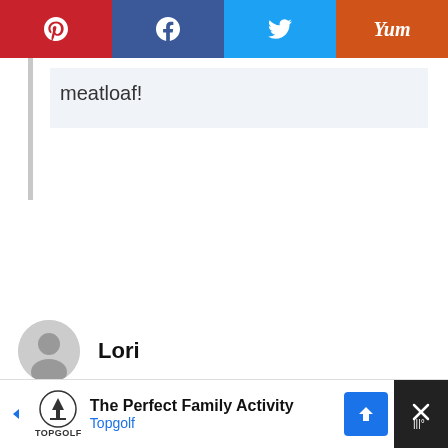[Figure (screenshot): Social sharing bar with Pinterest, Facebook, Twitter, and Yummly buttons]
meatloaf!
Lori
November 26, 2019 at 9:10 am
Do you think I could substitute red lentils for the French lentils? We are trying to use the things already
[Figure (screenshot): Advertisement banner for Topgolf - The Perfect Family Activity]
2,147